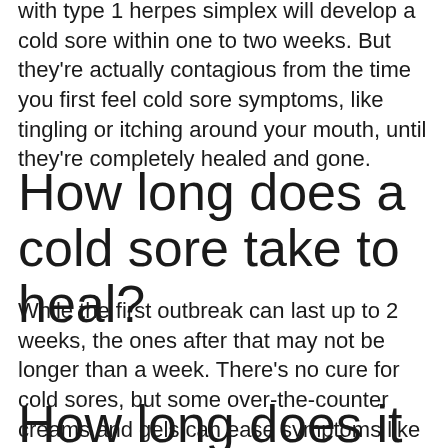with type 1 herpes simplex will develop a cold sore within one to two weeks. But they're actually contagious from the time you first feel cold sore symptoms, like tingling or itching around your mouth, until they're completely healed and gone.
How long does a cold sore take to heal?
While the first outbreak can last up to 2 weeks, the ones after that may not be longer than a week. There's no cure for cold sores, but some over-the-counter creams and gels can ease symptoms like burning and pain. You can also try hot or cold compresses.
How long does it take